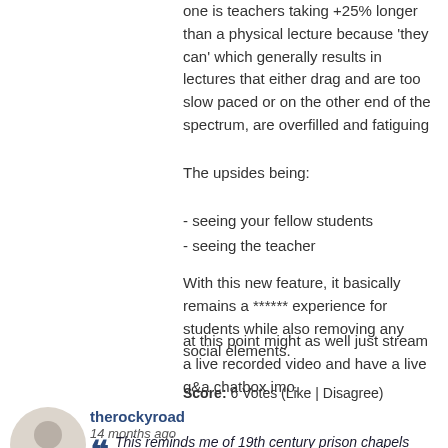one is teachers taking +25% longer than a physical lecture because 'they can' which generally results in lectures that either drag and are too slow paced or on the other end of the spectrum, are overfilled and fatiguing
The upsides being:
- seeing your fellow students
- seeing the teacher
With this new feature, it basically remains a ****** experience for students while also removing any social elements.
at this point might as well just stream a live recorded video and have a live q&a chatbox imo.
Score: 6 Votes (Like | Disagree)
therockyroad
14 months ago
This reminds me of 19th century prison chapels where each prisoner sat in a partitioned cubicle so they could only see the priest and not each other as part of a prison-wide regime of total isolation from other prisoners. Can